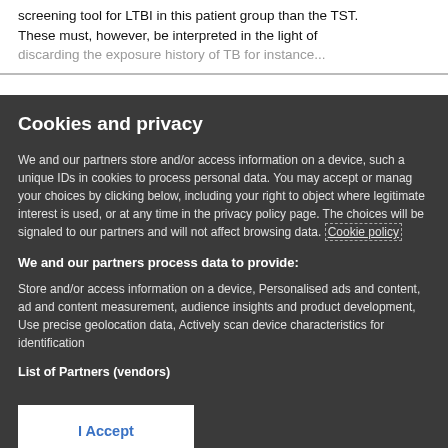screening tool for LTBI in this patient group than the TST. These must, however, be interpreted in the light of discarding the exposure history of TB for instance...
Cookies and privacy
We and our partners store and/or access information on a device, such as unique IDs in cookies to process personal data. You may accept or manage your choices by clicking below, including your right to object where legitimate interest is used, or at any time in the privacy policy page. These choices will be signaled to our partners and will not affect browsing data. Cookie policy
We and our partners process data to provide:
Store and/or access information on a device, Personalised ads and content, ad and content measurement, audience insights and product development, Use precise geolocation data, Actively scan device characteristics for identification
List of Partners (vendors)
I Accept